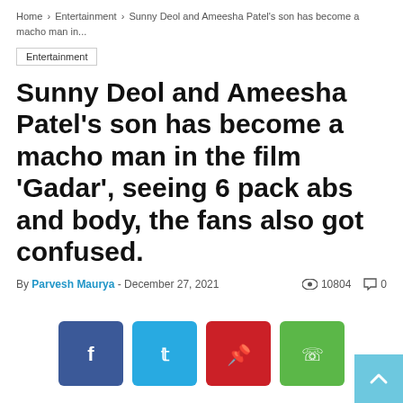Home > Entertainment > Sunny Deol and Ameesha Patel's son has become a macho man in...
Entertainment
Sunny Deol and Ameesha Patel's son has become a macho man in the film 'Gadar', seeing 6 pack abs and body, the fans also got confused.
By Parvesh Maurya - December 27, 2021  👁 10804  💬 0
[Figure (infographic): Social media share buttons: Facebook (blue), Twitter (cyan), Pinterest (red), WhatsApp (green)]